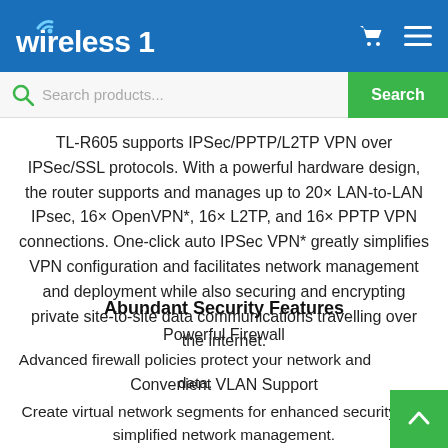Wireless 1
Search products...
TL-R605 supports IPSec/PPTP/L2TP VPN over IPSec/SSL protocols. With a powerful hardware design, the router supports and manages up to 20× LAN-to-LAN IPsec, 16× OpenVPN*, 16× L2TP, and 16× PPTP VPN connections. One-click auto IPSec VPN* greatly simplifies VPN configuration and facilitates network management and deployment while also securing and encrypting private site-to-site data communications travelling over the internet.
Abundant Security Features
Powerful Firewall
Advanced firewall policies protect your network and data.
Convenient VLAN Support
Create virtual network segments for enhanced security and simplified network management.